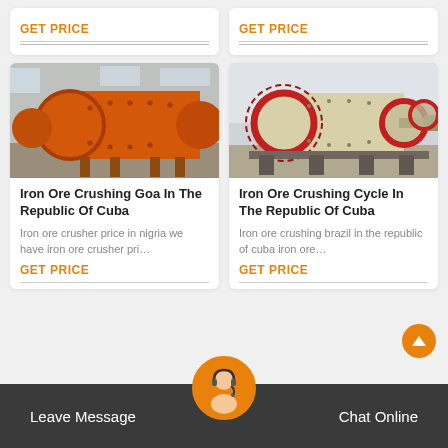GET PRICE
GET PRICE
[Figure (photo): Large orange industrial ball mill machine in a factory warehouse]
Iron Ore Crushing Goa In The Republic Of Cuba
Iron ore crusher price in nigria we have iron ore crusher pri…
GET PRICE
[Figure (photo): Large cream/beige industrial ball mill with red gear ring in a factory]
Iron Ore Crushing Cycle In The Republic Of Cuba
Iron ore crushing brazil in the republic of cuba iron ore…
GET PRICE
Leave Message   Chat Online